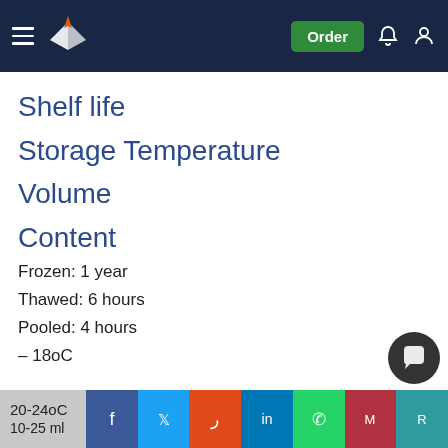Navigation bar with logo and Order button
Shelf life
Storage Temperature
Volume
Content
Frozen: 1 year
Thawed: 6 hours
Pooled: 4 hours
– 18oC
20-24oC
10-25 ml